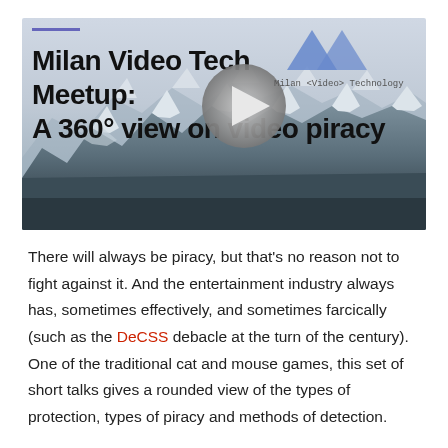[Figure (screenshot): Video thumbnail for Milan Video Tech Meetup: A 360° view on video piracy. Shows mountain landscape background with snow-capped peaks, a play button in the center, the event title in bold black text, and a geometric logo (two blue triangles) in the top right with tagline 'Milan <Video> Technology'.]
There will always be piracy, but that's no reason not to fight against it. And the entertainment industry always has, sometimes effectively, and sometimes farcically (such as the DeCSS debacle at the turn of the century). One of the traditional cat and mouse games, this set of short talks gives a rounded view of the types of protection, types of piracy and methods of detection.